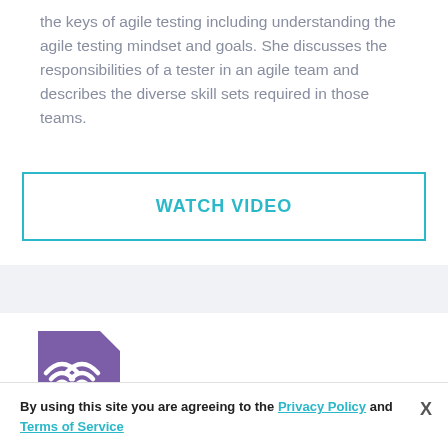the keys of agile testing including understanding the agile testing mindset and goals. She discusses the responsibilities of a tester in an agile team and describes the diverse skill sets required in those teams.
[Figure (other): WATCH VIDEO button — teal rectangular border with bold teal uppercase text 'WATCH VIDEO']
[Figure (logo): Purple pentagon-shaped logo with white WiFi/RSS-like icon (bTV or blog talk radio style logo)]
By using this site you are agreeing to the Privacy Policy and Terms of Service